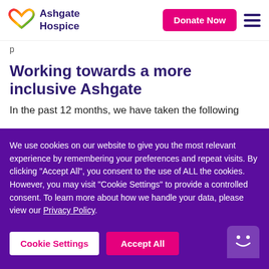[Figure (logo): Ashgate Hospice logo with rainbow infinity-style symbol and dark purple text reading 'Ashgate Hospice']
Donate Now | hamburger menu
p
Working towards a more inclusive Ashgate
In the past 12 months, we have taken the following
We use cookies on our website to give you the most relevant experience by remembering your preferences and repeat visits. By clicking "Accept All", you consent to the use of ALL the cookies. However, you may visit "Cookie Settings" to provide a controlled consent. To learn more about how we handle your data, please view our Privacy Policy.
Cookie Settings | Accept All